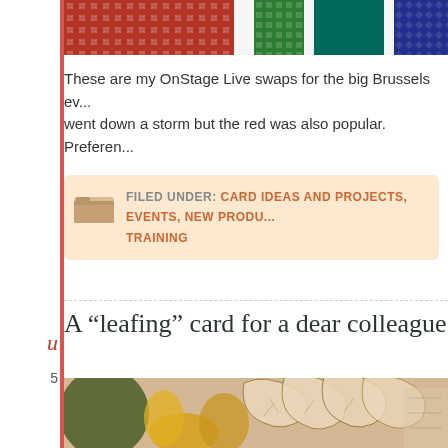[Figure (photo): Top strip showing colorful woven fabric/textile swatches in red, green, blue, and patterned designs]
These are my OnStage Live swaps for the big Brussels ev... went down a storm but the red was also popular. Preferen...
FILED UNDER: CARD IDEAS AND PROJECTS, EVENTS, NEW PRODU... TRAINING
A “leafing” card for a dear colleague
[Figure (photo): Close-up macro photo of an embossed/stamped card design featuring leaf patterns in brown, green, and yellow/gold colors on kraft/cream cardstock]